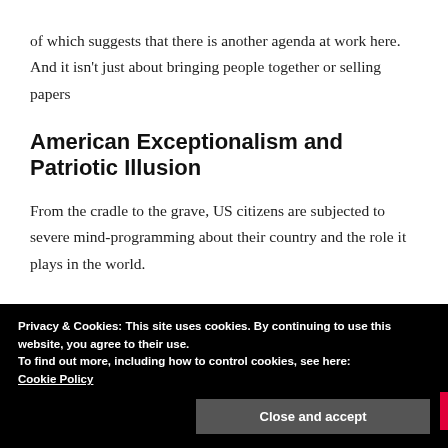of which suggests that there is another agenda at work here. And it isn't just about bringing people together or selling papers
American Exceptionalism and Patriotic Illusion
From the cradle to the grave, US citizens are subjected to severe mind-programming about their country and the role it plays in the world.
Privacy & Cookies: This site uses cookies. By continuing to use this website, you agree to their use.
To find out more, including how to control cookies, see here:
Cookie Policy
Close and accept
about the modern USA is precisely the opposite